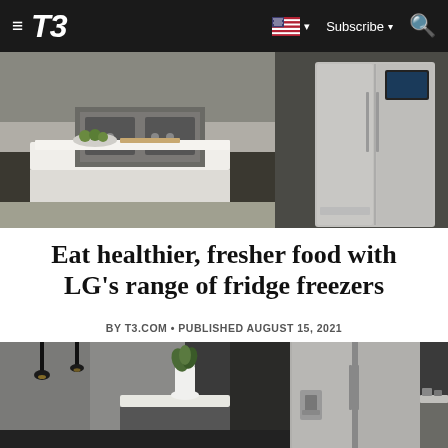T3 | Subscribe
[Figure (photo): Two kitchen images side by side: left shows a modern white kitchen with an island, stove, and green apples on a plate; right shows a stainless steel French door refrigerator against dark background]
Eat healthier, fresher food with LG's range of fridge freezers
BY T3.COM • PUBLISHED AUGUST 15, 2021
[Figure (photo): Modern dark kitchen interior with pendant lights, a white vase with greenery on a marble surface, and a stainless steel side-by-side refrigerator with water dispenser]